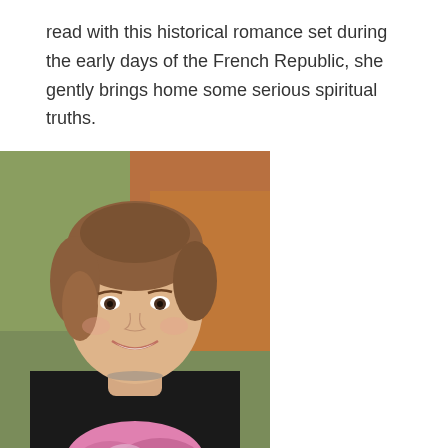read with this historical romance set during the early days of the French Republic, she gently brings home some serious spiritual truths.
[Figure (photo): Headshot of a smiling young woman with short brown hair, wearing a black top and pink floral scarf, seated in front of a blurred outdoor background.]
The importance of honesty and truthfulness is drawn out in an unusual way. Both the hero, Jean Paul, and the heroine, Brigitte, are brought low by dishonesty. The unusual aspect of this is that some of their troubles are of their own doing. So often, we find idealistic, too-perfect heroines and heroes–this is not the case in this gripping